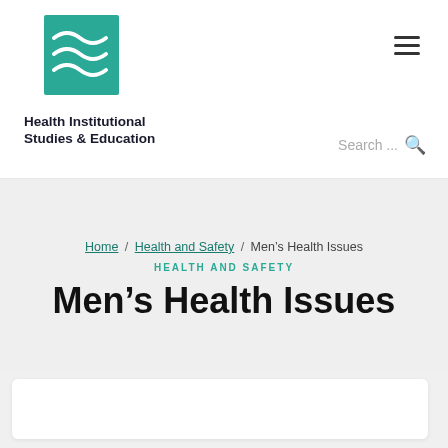Health Institutional Studies & Education
Search ...
Home / Health and Safety / Men's Health Issues
HEALTH AND SAFETY
Men's Health Issues
[Figure (photo): Partially visible photo strip at the bottom of the page showing men, partially cropped]